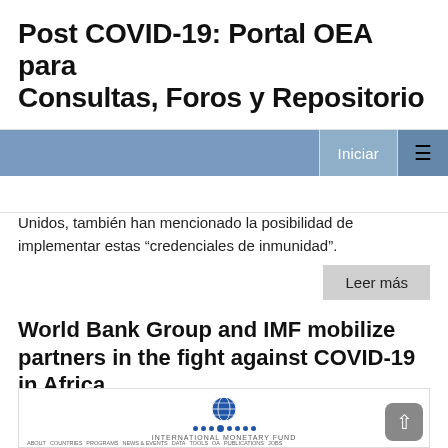Post COVID-19: Portal OEA para Consultas, Foros y Repositorio
Unidos, también han mencionado la posibilidad de implementar estas “credenciales de inmunidad”.
Leer más
World Bank Group and IMF mobilize partners in the fight against COVID-19 in Africa
[Figure (screenshot): Screenshot of IMF (International Monetary Fund) website showing a Press Release page with World Bank Group and IMF article about COVID-19 in Africa]